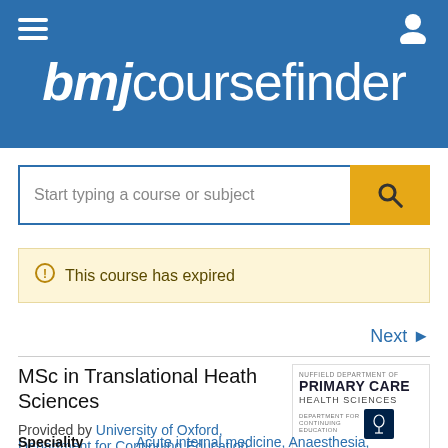bmj coursefinder
Start typing a course or subject
This course has expired
Next
MSc in Translational Heath Sciences
Provided by University of Oxford, Department for Continuing Education
[Figure (logo): Nuffield Department of Primary Care Health Sciences and Department for Continuing Education, University of Oxford logo]
Speciality   Acute internal medicine, Anaesthesia, Emergency